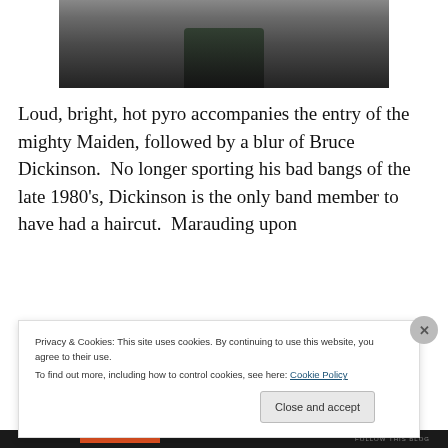[Figure (photo): Black and white photo of a musician performing, partially visible at the top of the page. Dark tones with figure holding what appears to be a microphone stand.]
Loud, bright, hot pyro accompanies the entry of the mighty Maiden, followed by a blur of Bruce Dickinson.  No longer sporting his bad bangs of the late 1980's, Dickinson is the only band member to have had a haircut.  Marauding upon
Privacy & Cookies: This site uses cookies. By continuing to use this website, you agree to their use.
To find out more, including how to control cookies, see here: Cookie Policy
Close and accept